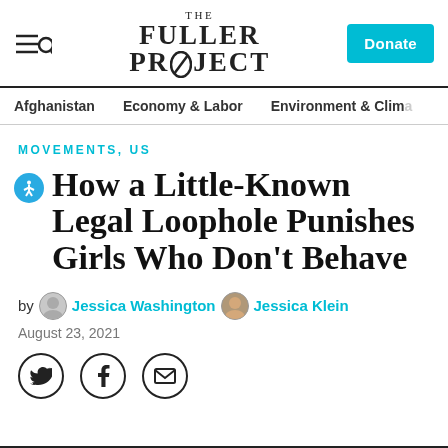THE FULLER PROJECT
Afghanistan   Economy & Labor   Environment & Climate
MOVEMENTS, US
How a Little-Known Legal Loophole Punishes Girls Who Don't Behave
by Jessica Washington Jessica Klein
August 23, 2021